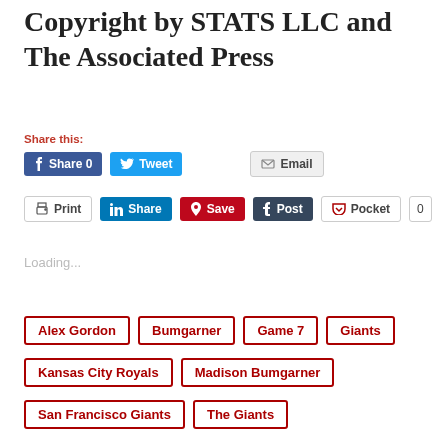Copyright by STATS LLC and The Associated Press
Share this:
Share 0  Tweet  Email  Print  Share  Save  Post  Pocket  0
Loading...
Alex Gordon
Bumgarner
Game 7
Giants
Kansas City Royals
Madison Bumgarner
San Francisco Giants
The Giants